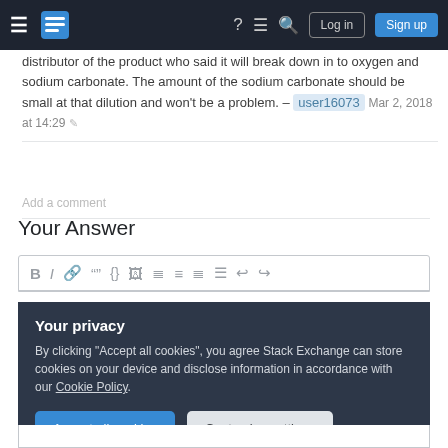Stack Exchange navigation bar with hamburger menu, logo, help, chat, search icons, Log in and Sign up buttons
distributor of the product who said it will break down in to oxygen and sodium carbonate. The amount of the sodium carbonate should be small at that dilution and won't be a problem. – user16073 Mar 2, 2018 at 14:29
Add a comment
Your Answer
[Figure (screenshot): Text editor toolbar with formatting icons: B, I, link, quote, code, image, ordered list, unordered list, align icons, undo, redo]
Your privacy
By clicking "Accept all cookies", you agree Stack Exchange can store cookies on your device and disclose information in accordance with our Cookie Policy.
Accept all cookies   Customize settings